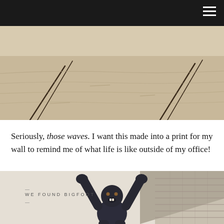[Figure (photo): Beach scene with sand dunes and wave lines, aerial or close-up view showing sandy texture]
Seriously, those waves. I want this made into a print for my wall to remind me of what life is like outside of my office!
[Figure (photo): A large dark sculpture of Bigfoot/sasquatch with arms raised, in front of a building with wooden shingle siding. Text overlay reads 'WE FOUND BIGFOOT' with dashes above and below.]